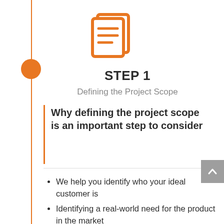[Figure (illustration): Orange document/clipboard icon with horizontal lines, representing a project scope document]
STEP 1
Defining the Project Scope
Why defining the project scope is an important step to consider
We help you identify who your ideal customer is
Identifying a real-world need for the product in the market
Identify economics of the idea (estimated cost prices, tooling,